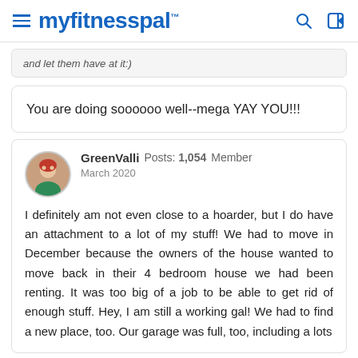myfitnesspal
and let them have at it:)
You are doing soooooo well--mega YAY YOU!!!
GreenValli  Posts: 1,054  Member
March 2020
I definitely am not even close to a hoarder, but I do have an attachment to a lot of my stuff! We had to move in December because the owners of the house wanted to move back in their 4 bedroom house we had been renting. It was too big of a job to be able to get rid of enough stuff. Hey, I am still a working gal! We had to find a new place, too. Our garage was full, too, including a lots